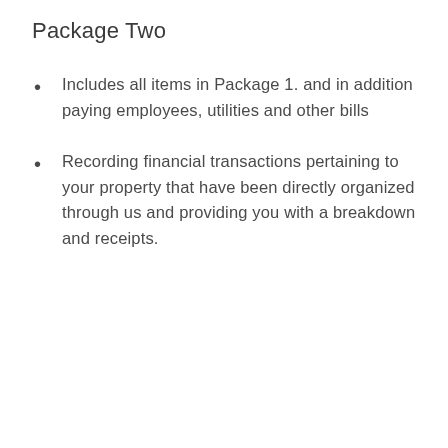Package Two
Includes all items in Package 1. and in addition paying employees, utilities and other bills
Recording financial transactions pertaining to your property that have been directly organized through us and providing you with a breakdown and receipts.